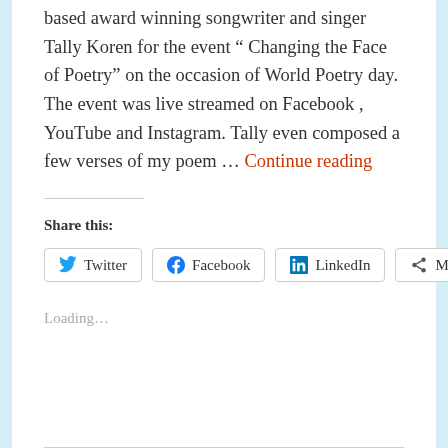based award winning songwriter and singer Tally Koren for the event " Changing the Face of Poetry" on the occasion of World Poetry day. The event was live streamed on Facebook , YouTube and Instagram. Tally even composed a few verses of my poem … Continue reading
Share this:
Twitter Facebook LinkedIn More
Loading...